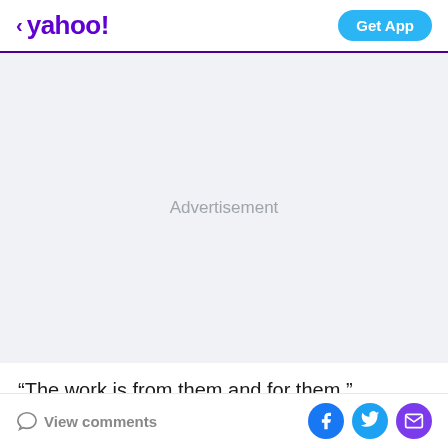< yahoo!  Get App
[Figure (other): Advertisement placeholder area with light gray background and centered 'Advertisement' text]
“The work is from them and for them,” Rodriguez-Frazier says. “It’s so important that they are able to see
View comments  [Facebook] [Twitter] [Email]